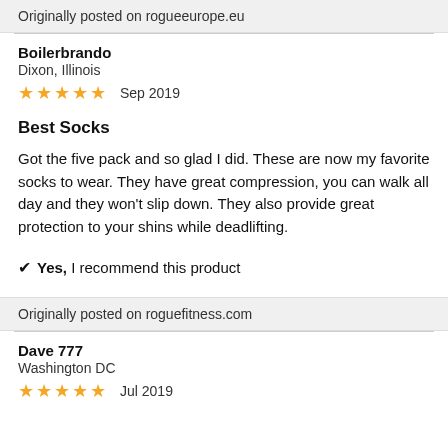Originally posted on rogueeurope.eu
Boilerbrando
Dixon, Illinois
★★★★★  Sep 2019
Best Socks
Got the five pack and so glad I did. These are now my favorite socks to wear. They have great compression, you can walk all day and they won't slip down. They also provide great protection to your shins while deadlifting.
✔ Yes, I recommend this product
Originally posted on roguefitness.com
Dave 777
Washington DC
★★★★★  Jul 2019